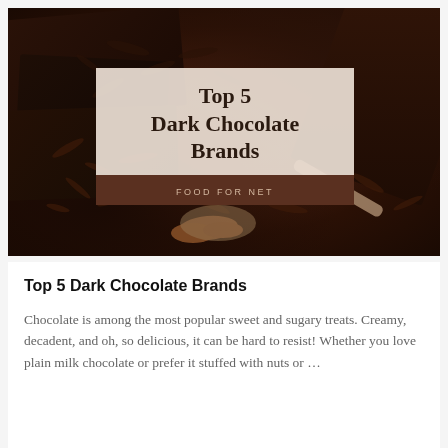[Figure (photo): Dark chocolate bars and chocolate shavings with a silver spoon, overlaid with a title box reading 'Top 5 Dark Chocolate Brands' and a brown banner saying 'FOOD FOR NET']
Top 5 Dark Chocolate Brands
Chocolate is among the most popular sweet and sugary treats. Creamy, decadent, and oh, so delicious, it can be hard to resist! Whether you love plain milk chocolate or prefer it stuffed with nuts or ...